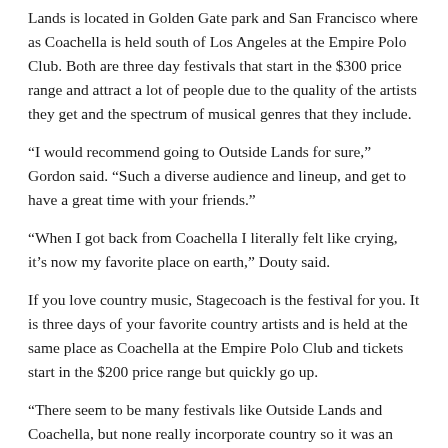Lands is located in Golden Gate park and San Francisco where as Coachella is held south of Los Angeles at the Empire Polo Club. Both are three day festivals that start in the $300 price range and attract a lot of people due to the quality of the artists they get and the spectrum of musical genres that they include.
“I would recommend going to Outside Lands for sure,” Gordon said. “Such a diverse audience and lineup, and get to have a great time with your friends.”
“When I got back from Coachella I literally felt like crying, it’s now my favorite place on earth,” Douty said.
If you love country music, Stagecoach is the festival for you. It is three days of your favorite country artists and is held at the same place as Coachella at the Empire Polo Club and tickets start in the $200 price range but quickly go up.
“There seem to be many festivals like Outside Lands and Coachella, but none really incorporate country so it was an amazing experience to have lots and lots of people all enjoying the same music that I do.”